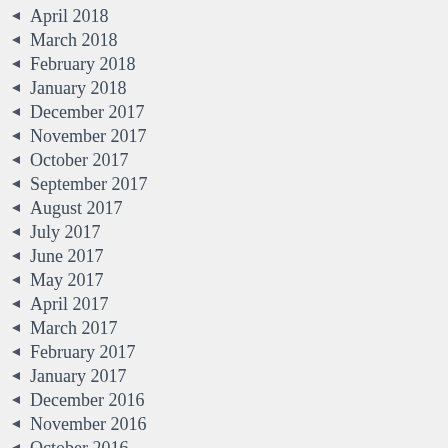April 2018
March 2018
February 2018
January 2018
December 2017
November 2017
October 2017
September 2017
August 2017
July 2017
June 2017
May 2017
April 2017
March 2017
February 2017
January 2017
December 2016
November 2016
October 2016